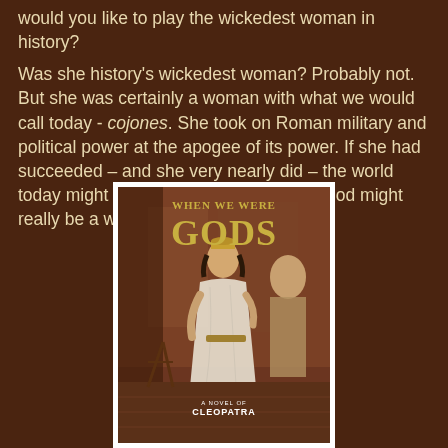would you like to play the wickedest woman in history? Was she history's wickedest woman? Probably not. But she was certainly a woman with what we would call today - cojones. She took on Roman military and political power at the apogee of its power. If she had succeeded – and she very nearly did – the world today might look a very different place. God might really be a woman - called Isis.
[Figure (illustration): Book cover for 'When We Were Gods: A Novel of Cleopatra' showing a classical painting of Cleopatra in flowing white robes with Egyptian setting and attendants]